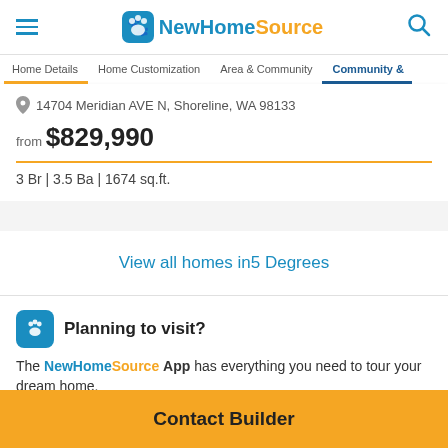NewHomeSource
Home Details | Home Customization | Area & Community | Community &
14704 Meridian AVE N, Shoreline, WA 98133
from $829,990
3 Br | 3.5 Ba | 1674 sq.ft.
View all homes in5 Degrees
Planning to visit?
The NewHomeSource App has everything you need to tour your dream home.
Contact Builder